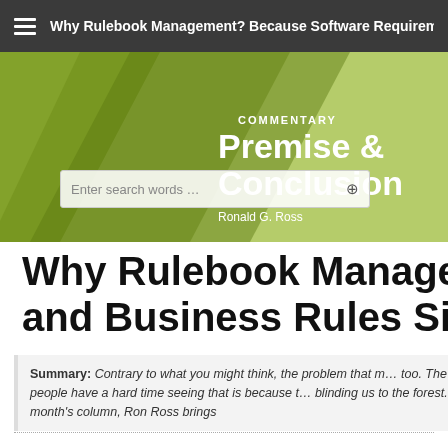Why Rulebook Management? Because Software Requirements...
[Figure (illustration): Green banner with dark green triangular shapes and commentary branding for 'Premise & Conclusion' by Ronald G. Ross, with a search box overlay.]
Why Rulebook Management and Business Rules Simply...
Summary: Contrary to what you might think, the problem that r... too. The reason people have a hard time seeing that is because b... blinding us to the forest. In this month's column, Ron Ross brings...